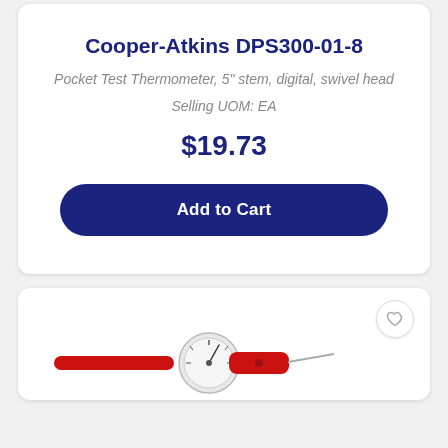Cooper-Atkins DPS300-01-8
Pocket Test Thermometer, 5" stem, digital, swivel head
Selling UOM: EA
$19.73
Add to Cart
[Figure (photo): Pocket thermometer with red handle and analog dial face, shown from the side]